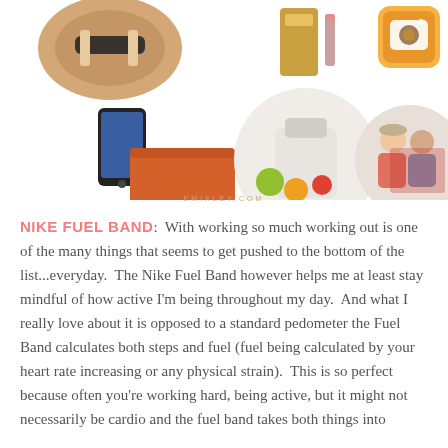[Figure (photo): Collage of lifestyle items: Nike Fuel Band on wrist, gold-colored item, Instagram camera logo, smartphone with orange clutch purse, juicer with fruits, couple photo in circular frames]
EMIXLEY.COM
NIKE FUEL BAND:  With working so much working out is one of the many things that seems to get pushed to the bottom of the list...everyday.  The Nike Fuel Band however helps me at least stay mindful of how active I'm being throughout my day.  And what I really love about it is opposed to a standard pedometer the Fuel Band calculates both steps and fuel (fuel being calculated by your heart rate increasing or any physical strain).  This is so perfect because often you're working hard, being active, but it might not necessarily be cardio and the fuel band takes both things into